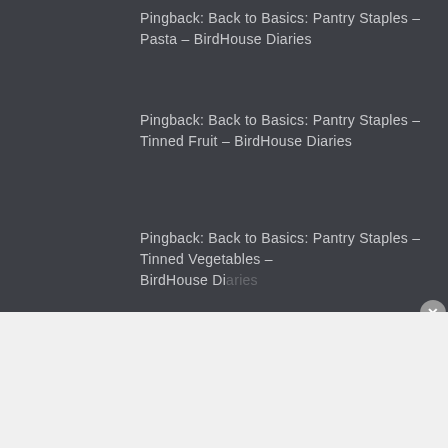Pingback: Back to Basics: Pantry Staples – Pasta – BirdHouse Diaries
Pingback: Back to Basics: Pantry Staples – Tinned Fruit – BirdHouse Diaries
Pingback: Back to Basics: Pantry Staples – Tinned Vegetables – BirdHouse Diaries
Advertisements
[Figure (other): DuckDuckGo advertisement banner showing 'Search, browse, and email with more privacy. All in One Free App' on orange background with phone mockup]